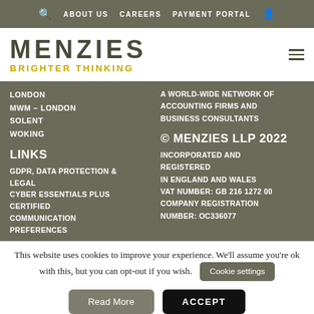🔍  ABOUT US  CAREERS  PAYMENT PORTAL  👤
[Figure (logo): Menzies logo with tagline BRIGHTER THINKING]
LONDON
MWM – LONDON
SOLENT
WOKING
A WORLD-WIDE NETWORK OF ACCOUNTING FIRMS AND BUSINESS CONSULTANTS
LINKS
© MENZIES LLP 2022
GDPR, DATA PROTECTION & LEGAL
CYBER ESSENTIALS PLUS CERTIFIED
COMMUNICATION PREFERENCES
INCORPORATED AND REGISTERED IN ENGLAND AND WALES VAT NUMBER: GB 216 1272 00 COMPANY REGISTRATION NUMBER: OC336077
This website uses cookies to improve your experience. We'll assume you're ok with this, but you can opt-out if you wish.
Cookie settings
Read More
ACCEPT